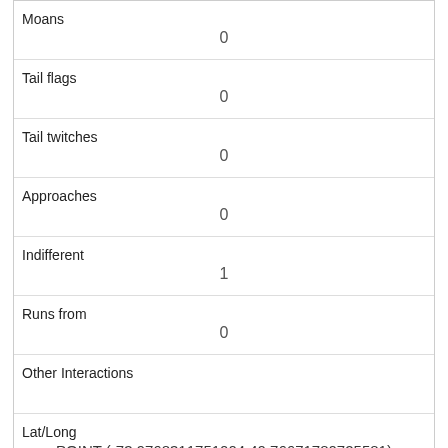| Field | Value |
| --- | --- |
| Moans | 0 |
| Tail flags | 0 |
| Tail twitches | 0 |
| Approaches | 0 |
| Indifferent | 1 |
| Runs from | 0 |
| Other Interactions |  |
| Lat/Long | POINT (-73.9768311751004 40.76671780725581) |
| Field | Value |
| --- | --- |
| Link | 4 |
| rowid | 4 |